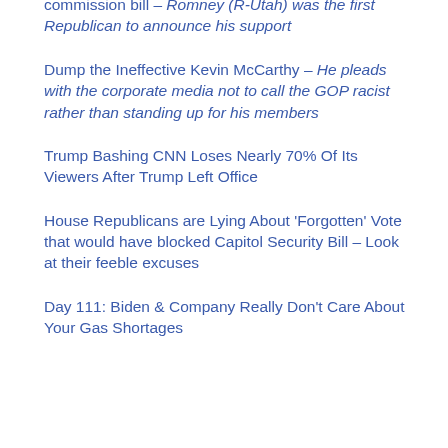commission bill – Romney (R-Utah) was the first Republican to announce his support
Dump the Ineffective Kevin McCarthy – He pleads with the corporate media not to call the GOP racist rather than standing up for his members
Trump Bashing CNN Loses Nearly 70% Of Its Viewers After Trump Left Office
House Republicans are Lying About ‘Forgotten’ Vote that would have blocked Capitol Security Bill – Look at their feeble excuses
Day 111: Biden & Company Really Don’t Care About Your Gas Shortages